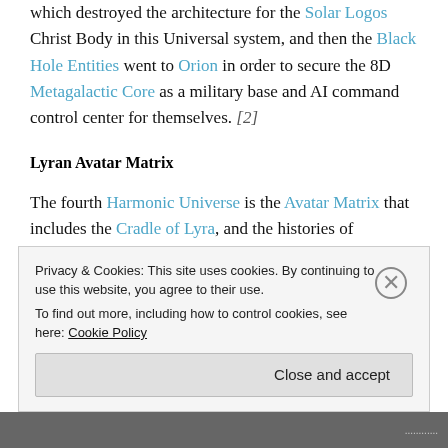which destroyed the architecture for the Solar Logos Christ Body in this Universal system, and then the Black Hole Entities went to Orion in order to secure the 8D Metagalactic Core as a military base and AI command control center for themselves. [2]
Lyran Avatar Matrix
The fourth Harmonic Universe is the Avatar Matrix that includes the Cradle of Lyra, and the histories of
Privacy & Cookies: This site uses cookies. By continuing to use this website, you agree to their use.
To find out more, including how to control cookies, see here: Cookie Policy